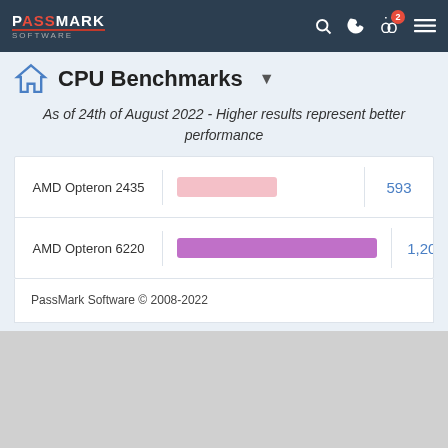PassMark Software
CPU Benchmarks
As of 24th of August 2022 - Higher results represent better performance
[Figure (bar-chart): CPU Benchmarks]
PassMark Software © 2008-2022